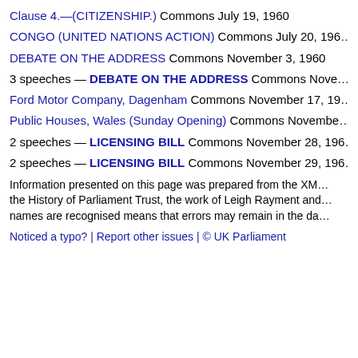Clause 4.—(CITIZENSHIP.) Commons July 19, 1960
CONGO (UNITED NATIONS ACTION) Commons July 20, 196…
DEBATE ON THE ADDRESS Commons November 3, 1960
3 speeches — DEBATE ON THE ADDRESS Commons Nove…
Ford Motor Company, Dagenham Commons November 17, 19…
Public Houses, Wales (Sunday Opening) Commons Novembe…
2 speeches — LICENSING BILL Commons November 28, 196…
2 speeches — LICENSING BILL Commons November 29, 196…
Information presented on this page was prepared from the XM… the History of Parliament Trust, the work of Leigh Rayment and… names are recognised means that errors may remain in the da…
Noticed a typo? | Report other issues | © UK Parliament